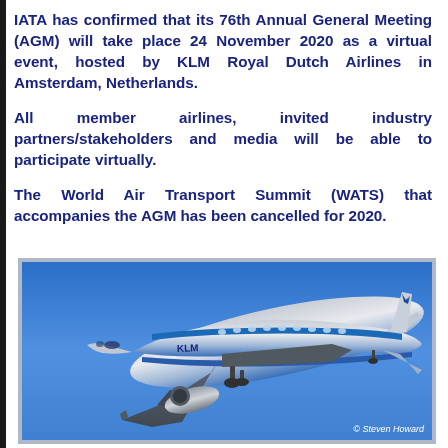IATA has confirmed that its 76th Annual General Meeting (AGM) will take place 24 November 2020 as a virtual event, hosted by KLM Royal Dutch Airlines in Amsterdam, Netherlands.
All member airlines, invited industry partners/stakeholders and media will be able to participate virtually.
The World Air Transport Summit (WATS) that accompanies the AGM has been cancelled for 2020.
[Figure (photo): A KLM Royal Dutch Airlines Boeing 737 aircraft in flight against a blue sky, photographed from below at an angle showing the underside and side of the plane with KLM livery (blue and white). Copyright Steven Howard.]